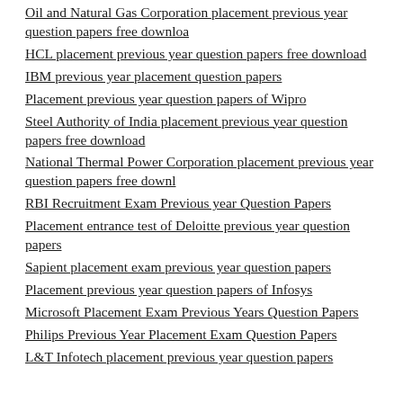Oil and Natural Gas Corporation placement previous year question papers free downloa
HCL placement previous year question papers free download
IBM previous year placement question papers
Placement previous year question papers of Wipro
Steel Authority of India placement previous year question papers free download
National Thermal Power Corporation placement previous year question papers free downl
RBI Recruitment Exam Previous year Question Papers
Placement entrance test of Deloitte previous year question papers
Sapient placement exam previous year question papers
Placement previous year question papers of Infosys
Microsoft Placement Exam Previous Years Question Papers
Philips Previous Year Placement Exam Question Papers
L&T Infotech placement previous year question papers